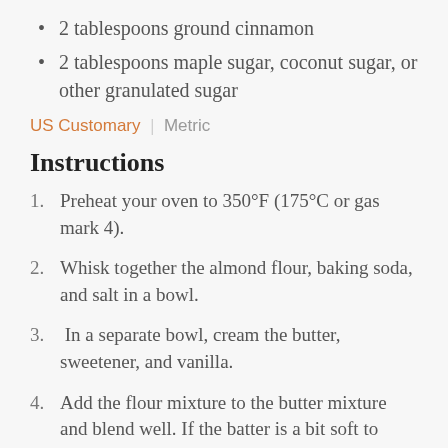2 tablespoons ground cinnamon
2 tablespoons maple sugar, coconut sugar, or other granulated sugar
US Customary | Metric
Instructions
1. Preheat your oven to 350°F (175°C or gas mark 4).
2. Whisk together the almond flour, baking soda, and salt in a bowl.
3.  In a separate bowl, cream the butter, sweetener, and vanilla.
4. Add the flour mixture to the butter mixture and blend well. If the batter is a bit soft to handle, chill it for 10 minutes.